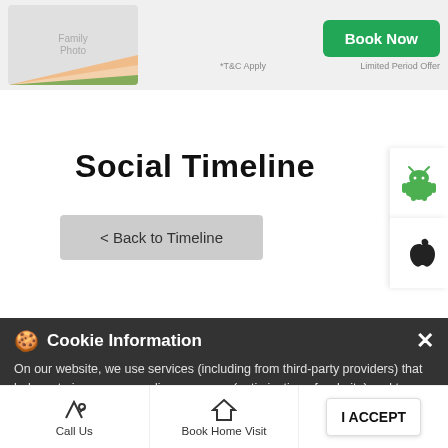[Figure (screenshot): Top banner with family photo placeholder, Book Now green button, T&C Apply and Limited Period Offer text]
Social Timeline
< Back to Timeline
[Figure (logo): Android robot icon (green) on white sidebar button]
[Figure (logo): Apple logo icon on white sidebar button]
Cookie Information
On our website, we use services (including from third-party providers) that help us to improve our online presence (optimization of website) and to display content that is geared to their interests. We need your consent before being able to use these services.
...initiative by Metropolis which provides mentoring sessions for budding women entrepreneurs will be having its third webinar session with Ms. Sairee Chahal, Founder & CEO SHEROES, a women-only social platform) on the SHEROES story on 24th October 2020, Saturday at 4 PM. To join, register now from link in bio
Call Us
Book Home Visit
Directions
I ACCEPT